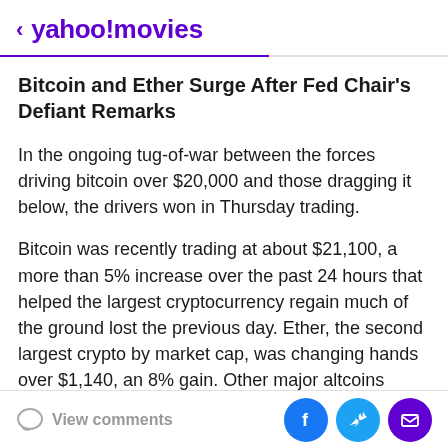< yahoo!movies
Bitcoin and Ether Surge After Fed Chair's Defiant Remarks
In the ongoing tug-of-war between the forces driving bitcoin over $20,000 and those dragging it below, the drivers won in Thursday trading.
Bitcoin was recently trading at about $21,100, a more than 5% increase over the past 24 hours that helped the largest cryptocurrency regain much of the ground lost the previous day. Ether, the second largest crypto by market cap, was changing hands over $1,140, an 8% gain. Other major altcoins assumed various shades of green with STORJ and POLY assuming two of the darkest hues,
View comments